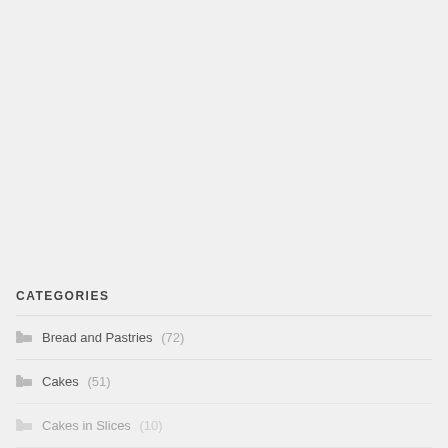CATEGORIES
Bread and Pastries (72)
Cakes (51)
Cakes in Slices (10)